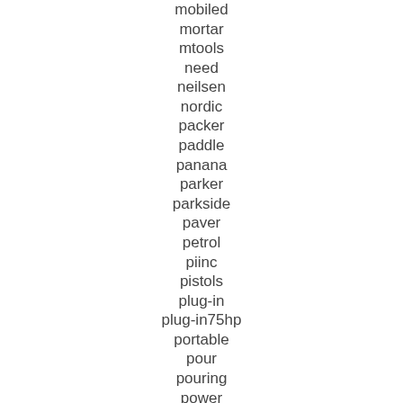mobiled
mortar
mtools
need
neilsen
nordic
packer
paddle
panana
parker
parkside
paver
petrol
piinc
pistols
plug-in
plug-in75hp
portable
pour
pouring
power
powerfist
powerful
powerking
powersmith